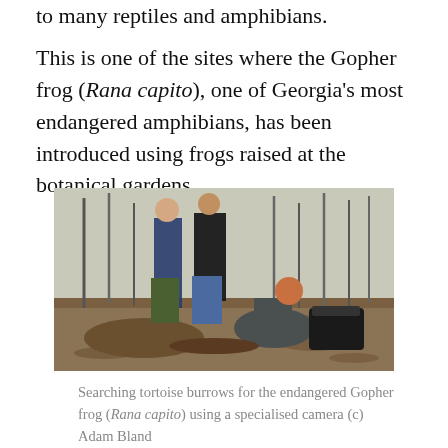to many reptiles and amphibians.
This is one of the sites where the Gopher frog (Rana capito), one of Georgia's most endangered amphibians, has been introduced using frogs raised at the botanical gardens.
[Figure (photo): Two people standing and one person crouching in an open pine forest with sandy/burnt ground, examining something on the ground, with trees visible in the background]
Searching tortoise burrows for the endangered Gopher frog (Rana capito) using a specialised camera (c) Adam Bland